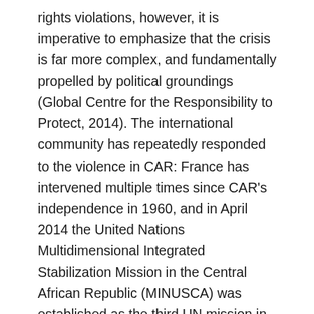rights violations, however, it is imperative to emphasize that the crisis is far more complex, and fundamentally propelled by political groundings (Global Centre for the Responsibility to Protect, 2014). The international community has repeatedly responded to the violence in CAR: France has intervened multiple times since CAR's independence in 1960, and in April 2014 the United Nations Multidimensional Integrated Stabilization Mission in the Central African Republic (MINUSCA) was established as the third UN mission in 20 years (Cinq-Mars, 2015, p. 7). In 2005, the Responsibility to Protect (R2P) was endorsed into the World Summit Outcome Document as a global norm, following its introduction as a principle in the 2001 International Commission on Intervention and State Sovereignty (ICISS) report (ICISS). At the heart of R2P, there are three pillars of responsibility: pillar one stipulates that foremost it is the duty of the state to protect its population from genocide, war crimes, crimes against